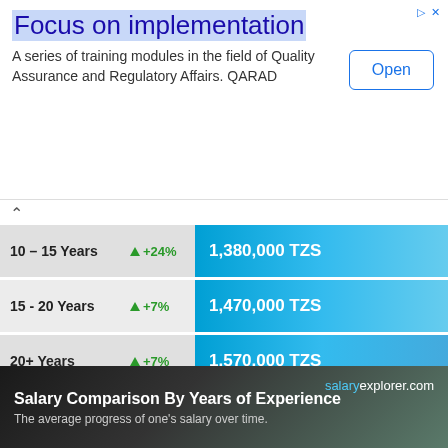[Figure (other): Advertisement banner: Focus on implementation - A series of training modules in the field of Quality Assurance and Regulatory Affairs. QARAD. Open button.]
[Figure (bar-chart): Salary Comparison By Years of Experience]
Percentage increase and decrease are relative to the previous value
Typical Salary Progress for Most Careers
[Figure (photo): Bottom banner: Salary Comparison By Years of Experience - The average progress of one's salary over time. salaryexplorer.com]